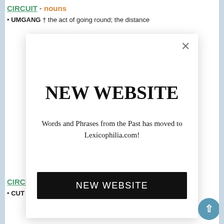CIRCUIT - nouns
• UMGANG † the act of going round; the distance
[Figure (screenshot): Modal popup dialog with close button (×), large bold heading 'NEW WEBSITE', subtitle text 'Words and Phrases from the Past has moved to Lexicophilia.com!', and a black button labeled 'NEW WEBSITE']
CIRCUMCISED - adjectives
• CUT OUT TO BE A GENTLEMAN circumcised